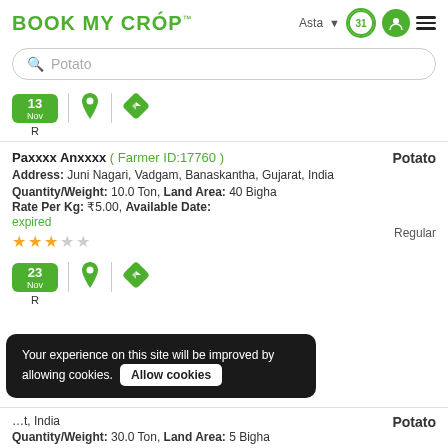BOOK MY CROP
Potato (search bar)
13 Nov R (filter row)
Paxxxx Anxxxx ( Farmer ID:17760 ) | Potato
Address: Juni Nagari, Vadgam, Banaskantha, Gujarat, India
Quantity/Weight: 10.0 Ton, Land Area: 40 Bigha
Rate Per Kg: ₹5.00, Available Date: expired
★★★☆☆ | Regular
23 Nov R (filter)
Your experience on this site will be improved by allowing cookies. [Allow cookies]
Potato
...t, India
Quantity/Weight: 30.0 Ton, Land Area: 5 Bigha